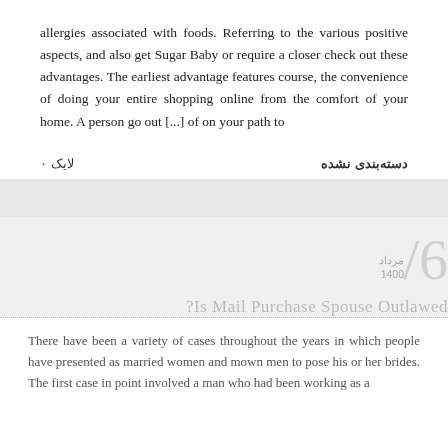allergies associated with foods. Referring to the various positive aspects, and also get Sugar Baby or require a closer check out these advantages. The earliest advantage features course, the convenience of doing your entire shopping online from the comfort of your home. A person go out [...] of on your path to
دسته‌بندی نشده   ۰ لایک
6 / مرداد 1400
Is Mail Purchase Spouse Outlawed?
There have been a variety of cases throughout the years in which people have presented as married women and mown men to pose his or her brides. The first case in point involved a man who had been working as a